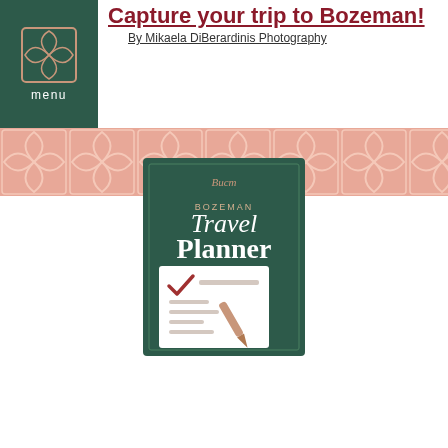menu
Capture your trip to Bozeman!
By Mikaela DiBerardinis Photography
[Figure (illustration): Decorative geometric flower/star tile pattern band in salmon/pink color]
[Figure (illustration): Bozeman Travel Planner booklet cover with checklist and pen graphic, dark green cover]
Download Our Bozeman Travel Planner
[Figure (illustration): Eye icon in dark gray circle - accessibility/preview widget]
[Figure (illustration): Dark maroon bordered box with envelope/logo icon and BOOK NOW button]
BOOK NOW